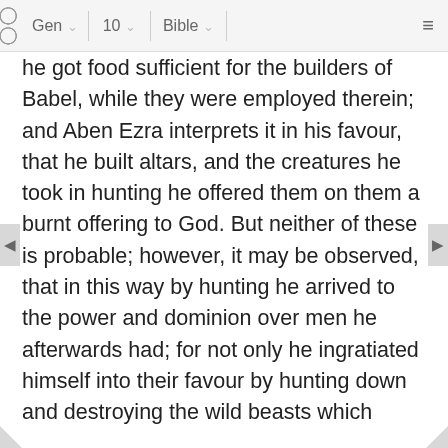⠿ Gen ∨ 10 ∨ Bible ∨ ≡
he got food sufficient for the builders of Babel, while they were employed therein; and Aben Ezra interprets it in his favour, that he built altars, and the creatures he took in hunting he offered them on them a burnt offering to God. But neither of these is probable; however, it may be observed, that in this way by hunting he arrived to the power and dominion over men he afterwards had; for not only he ingratiated himself into their favour by hunting down and destroying the wild beasts which molested them, but by these means he might gather together a large number of young men, strong and robust, to join him in hunting; whereby they were inured to hardships, and trained up to military exercises, and were taught the way of destroying men as well as beasts; and by whose help and assistance he might arrive to the government he